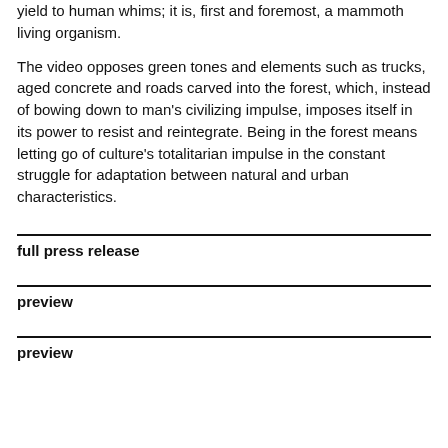yield to human whims; it is, first and foremost, a mammoth living organism.
The video opposes green tones and elements such as trucks, aged concrete and roads carved into the forest, which, instead of bowing down to man’s civilizing impulse, imposes itself in its power to resist and reintegrate. Being in the forest means letting go of culture’s totalitarian impulse in the constant struggle for adaptation between natural and urban characteristics.
full press release
preview
preview